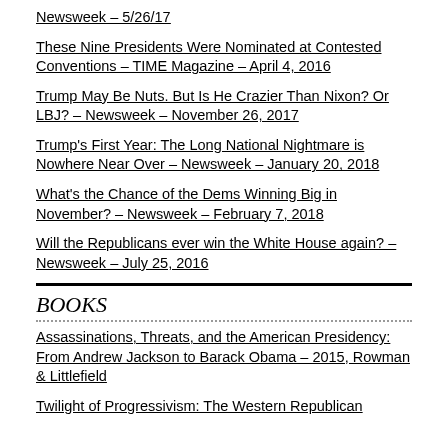Newsweek – 5/26/17
These Nine Presidents Were Nominated at Contested Conventions – TIME Magazine – April 4, 2016
Trump May Be Nuts. But Is He Crazier Than Nixon? Or LBJ? – Newsweek – November 26, 2017
Trump's First Year: The Long National Nightmare is Nowhere Near Over – Newsweek – January 20, 2018
What's the Chance of the Dems Winning Big in November? – Newsweek – February 7, 2018
Will the Republicans ever win the White House again? – Newsweek – July 25, 2016
BOOKS
Assassinations, Threats, and the American Presidency: From Andrew Jackson to Barack Obama – 2015, Rowman & Littlefield
Twilight of Progressivism: The Western Republican...